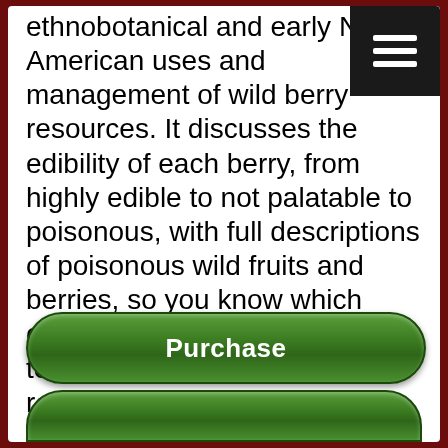ethnobotanical and early Native American uses and management of wild berry resources. It discusses the edibility of each berry, from highly edible to not palatable to poisonous, with full descriptions of poisonous wild fruits and berries, so you know which ones to avoid. Included in the text are two dozen tasty berry recipes including muffins, squares, popsicles, and drinks. You may have forgotten what a "real" berry tastes like, but take this book with you on your next hike and you'll be able to enjoy a cornucopia of freshness.
[Figure (other): Green rounded rectangle button labeled 'Purchase']
[Figure (other): Partial green rounded rectangle button (cropped at bottom of page)]